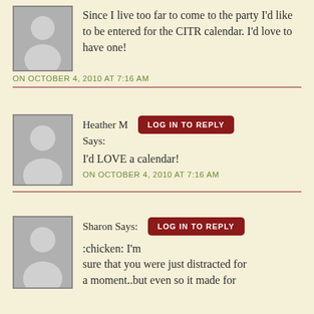Since I live too far to come to the party I'd like to be entered for the CITR calendar. I'd love to have one!
ON OCTOBER 4, 2010 AT 7:16 AM
Heather M Says:
LOG IN TO REPLY
I'd LOVE a calendar!
ON OCTOBER 4, 2010 AT 7:16 AM
Sharon Says:
LOG IN TO REPLY
:chicken: I'm sure that you were just distracted for a moment..but even so it made for